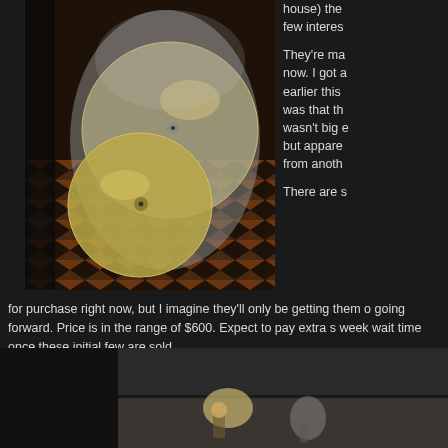[Figure (photo): Two large cymbals wrapped in plastic bags, sitting on a patterned floor.]
house) the few interes
They're ma now. I got a earlier this was that th wasn't big e but appare from anoth
There are s for purchase right now, but I imagine they'll only be getting them o going forward. Price is in the range of $600. Expect to pay extra s week wait time once these initial few are sold.
Here's Tim demonstrating one— taken on an iPhone. Actual meas says. I believe this one is going to the drummer in the Sun Ra Ark
[Figure (photo): Partial view of a dark photo at the bottom of the page showing a figure demonstrating a cymbal.]